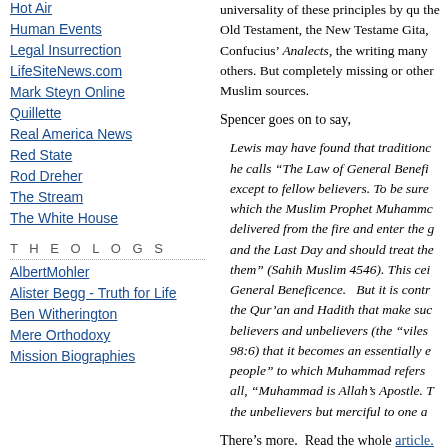Hot Air
Human Events
Legal Insurrection
LifeSiteNews.com
Mark Steyn Online
Quillette
Real America News
Red State
Rod Dreher
The Stream
The White House
T H E O L O G S
AlbertMohler
Alister Begg - Truth for Life
Ben Witherington
Mere Orthodoxy
Mission Biographies
universality of these principles by qu... the Old Testament, the New Testame... Gita, Confucius' Analects, the writing... many others. But completely missing... or other Muslim sources.
Spencer goes on to say,
Lewis may have found that traditionc... he calls “The Law of General Benefi... except to fellow believers. To be sure... which the Muslim Prophet Muhammc... delivered from the fire and enter the g... and the Last Day and should treat the... them” (Sahih Muslim 4546). This cei... General Beneficence.   But it is contr... the Qur’an and Hadith that make suc... believers and unbelievers (the “viles... 98:6) that it becomes an essentially e... people” to which Muhammad refers... all, “Muhammad is Allah’s Apostle. T... the unbelievers but merciful to one a...
There's more.  Read the whole article.
Sunday, 05 March 2006 in C. S. Lewis, Clash o...